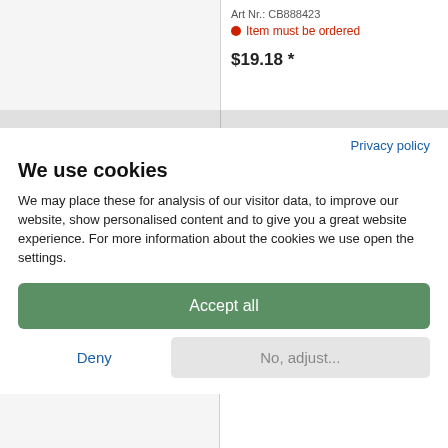Art Nr.: CB888423
Item must be ordered
$19.18 *
Privacy policy
We use cookies
We may place these for analysis of our visitor data, to improve our website, show personalised content and to give you a great website experience. For more information about the cookies we use open the settings.
Accept all
Deny
No, adjust...
$17.54 **
delivery time** appr. 1-3 workdays
$19.18 *